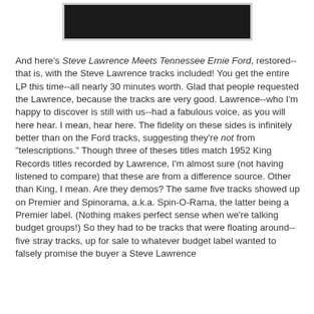[Figure (photo): Partially visible album cover image, mostly blacked out, with a light border/frame around it.]
And here's Steve Lawrence Meets Tennessee Ernie Ford, restored--that is, with the Steve Lawrence tracks included! You get the entire LP this time--all nearly 30 minutes worth. Glad that people requested the Lawrence, because the tracks are very good. Lawrence--who I'm happy to discover is still with us--had a fabulous voice, as you will here hear. I mean, hear here. The fidelity on these sides is infinitely better than on the Ford tracks, suggesting they're not from "telescriptions." Though three of theses titles match 1952 King Records titles recorded by Lawrence, I'm almost sure (not having listened to compare) that these are from a difference source. Other than King, I mean. Are they demos? The same five tracks showed up on Premier and Spinorama, a.k.a. Spin-O-Rama, the latter being a Premier label. (Nothing makes perfect sense when we're talking budget groups!) So they had to be tracks that were floating around--five stray tracks, up for sale to whatever budget label wanted to falsely promise the buyer a Steve Lawrence